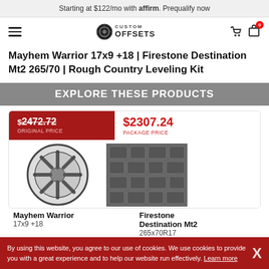Starting at $122/mo with affirm. Prequalify now
[Figure (logo): Custom Offsets logo with hamburger menu, phone and cart icons]
Mayhem Warrior 17x9 +18 | Firestone Destination Mt2 265/70 | Rough Country Leveling Kit
EXPLORE THESE PRODUCTS
[Figure (other): Product card showing original price $2472.72 and package price $2307.24 with wheel and tire images]
Mayhem Warrior
17x9 +18
Firestone Destination Mt2
265x70R17
By using this website, you agree to our use of cookies. We use cookies to provide you with a great experience and to help our website run effectively. Learn more